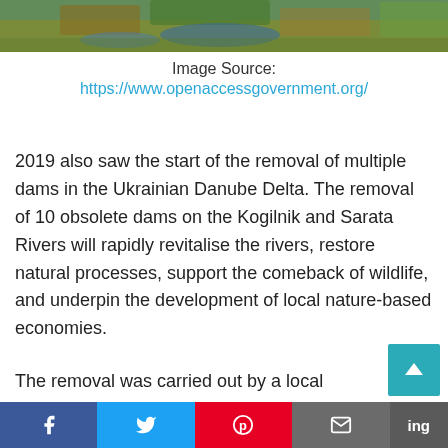[Figure (photo): Aerial photograph of a river delta landscape with green vegetation and water channels]
Image Source:
https://www.openaccessgovernment.org/
2019 also saw the start of the removal of multiple dams in the Ukrainian Danube Delta. The removal of 10 obsolete dams on the Kogilnik and Sarata Rivers will rapidly revitalise the rivers, restore natural processes, support the comeback of wildlife, and underpin the development of local nature-based economies.
The removal was carried out by a local contractor and financed by the Endangered
Facebook Twitter Pinterest Email ing